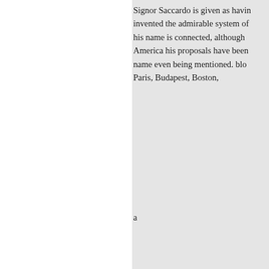Signor Saccardo is given as having invented the admirable system of his name is connected, although America his proposals have been name even being mentioned. blo Paris, Budapest, Boston,
a
to
are
a
manner